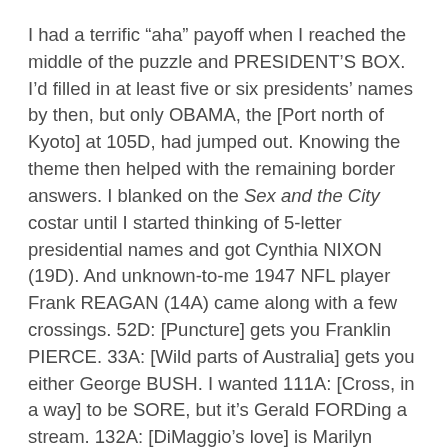I had a terrific “aha” payoff when I reached the middle of the puzzle and PRESIDENT’S BOX. I’d filled in at least five or six presidents’ names by then, but only OBAMA, the [Port north of Kyoto] at 105D, had jumped out. Knowing the theme then helped with the remaining border answers. I blanked on the Sex and the City costar until I started thinking of 5-letter presidential names and got Cynthia NIXON (19D). And unknown-to-me 1947 NFL player Frank REAGAN (14A) came along with a few crossings. 52D: [Puncture] gets you Franklin PIERCE. 33A: [Wild parts of Australia] gets you either George BUSH. I wanted 111A: [Cross, in a way] to be SORE, but it’s Gerald FORDing a stream. 132A: [DiMaggio’s love] is Marilyn “James” MONROE.
The whole puzzle was a delightful solving experience for me. The only “meh” note was 58D: PEAN/[Hymn of